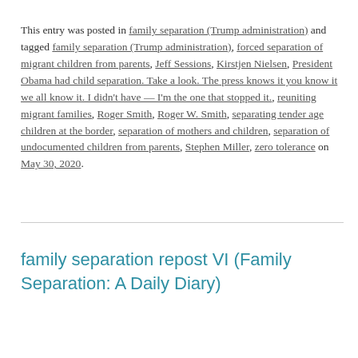This entry was posted in family separation (Trump administration) and tagged family separation (Trump administration), forced separation of migrant children from parents, Jeff Sessions, Kirstjen Nielsen, President Obama had child separation. Take a look. The press knows it you know it we all know it. I didn't have — I'm the one that stopped it., reuniting migrant families, Roger Smith, Roger W. Smith, separating tender age children at the border, separation of mothers and children, separation of undocumented children from parents, Stephen Miller, zero tolerance on May 30, 2020.
family separation repost VI (Family Separation: A Daily Diary)